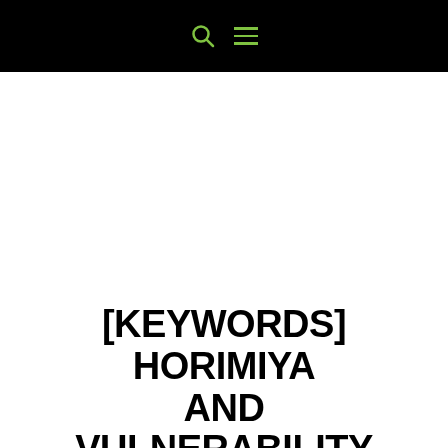🔍 ☰
[KEYWORDS] HORIMIYA AND VULNERABILITY
by Data_Error | Keywords, TV & Film